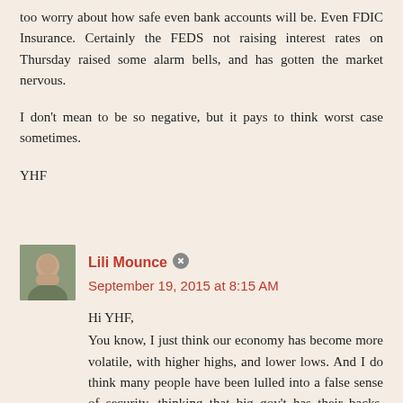too worry about how safe even bank accounts will be. Even FDIC Insurance. Certainly the FEDS not raising interest rates on Thursday raised some alarm bells, and has gotten the market nervous.
I don't mean to be so negative, but it pays to think worst case sometimes.
YHF
Lili Mounce  September 19, 2015 at 8:15 AM
Hi YHF,
You know, I just think our economy has become more volatile, with higher highs, and lower lows. And I do think many people have been lulled into a false sense of security, thinking that big gov't has their backs. Those who are always prepared, have learned to ignore what the Jones's are doing, don't take on debt and are generally hard workers, will do okay.